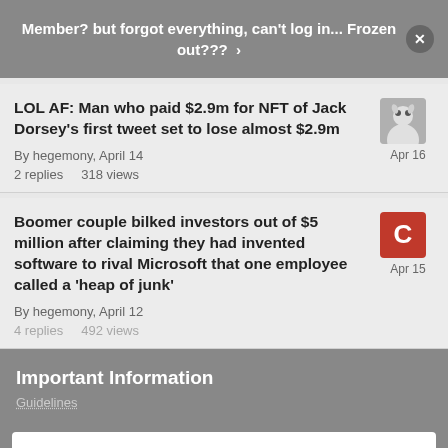Member? but forgot everything, can't log in... Frozen out???  >
LOL AF: Man who paid $2.9m for NFT of Jack Dorsey's first tweet set to lose almost $2.9m
By hegemony, April 14
2 replies    318 views
Boomer couple bilked investors out of $5 million after claiming they had invented software to rival Microsoft that one employee called a 'heap of junk'
By hegemony, April 12
4 replies    492 views
Important Information
Guidelines
✔  I accept